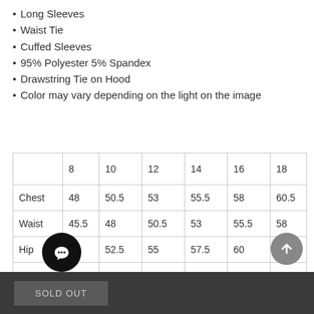Long Sleeves
Waist Tie
Cuffed Sleeves
95% Polyester 5% Spandex
Drawstring Tie on Hood
Color may vary depending on the light on the image
|  | 8 | 10 | 12 | 14 | 16 | 18 |
| --- | --- | --- | --- | --- | --- | --- |
| Chest | 48 | 50.5 | 53 | 55.5 | 58 | 60.5 |
| Waist | 45.5 | 48 | 50.5 | 53 | 55.5 | 58 |
| Hip | 50 | 52.5 | 55 | 57.5 | 60 | 62.5 |
| L | 40 | 140.7 | 141.4 | 142.1 | 142.8 | 1 |